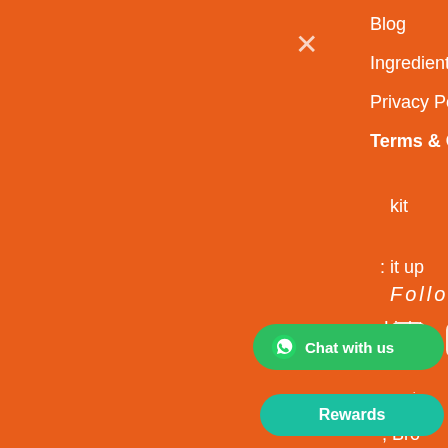Welcome
it your phone number to spin the wheel
Submit
Blog
Ingredients
Privacy Policy
kit
Terms & Conditions
: it up
Light
; Bro
: it up
Follow Us
[Figure (infographic): Social media icons: Instagram, Pinterest, YouTube, LinkedIn]
pani Products Pvt Ltd
Chat with us
Rewards